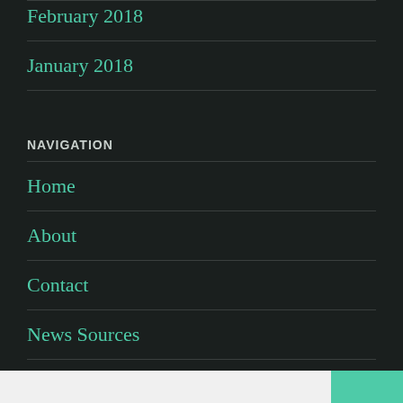February 2018
January 2018
NAVIGATION
Home
About
Contact
News Sources